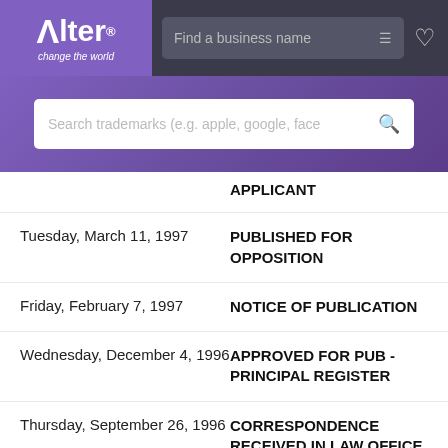[Figure (screenshot): Alter brand logo with purple background, tagline 'change the world']
[Figure (screenshot): Top navigation bar with 'Find a business name' search field and heart icon]
[Figure (screenshot): Purple banner with 'Search trademarks (e.g. apple, google, face' search bar]
| Date | Event |
| --- | --- |
|  | APPLICANT |
| Tuesday, March 11, 1997 | PUBLISHED FOR OPPOSITION |
| Friday, February 7, 1997 | NOTICE OF PUBLICATION |
| Wednesday, December 4, 1996 | APPROVED FOR PUB - PRINCIPAL REGISTER |
| Thursday, September 26, 1996 | CORRESPONDENCE RECEIVED IN LAW OFFICE |